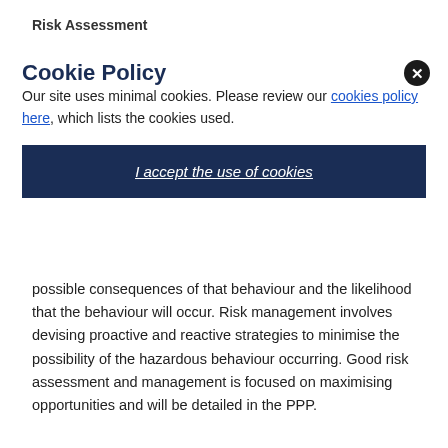Risk Assessment
Cookie Policy
Our site uses minimal cookies. Please review our cookies policy here, which lists the cookies used.
I accept the use of cookies
possible consequences of that behaviour and the likelihood that the behaviour will occur. Risk management involves devising proactive and reactive strategies to minimise the possibility of the hazardous behaviour occurring. Good risk assessment and management is focused on maximising opportunities and will be detailed in the PPP.